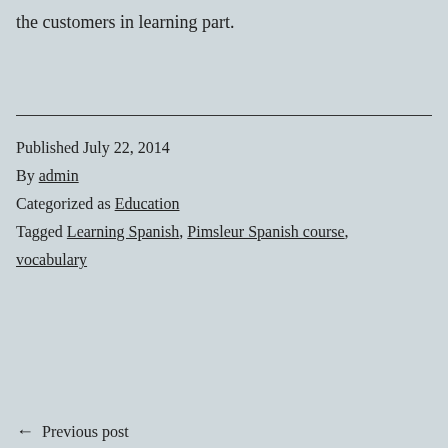the customers in learning part.
Published July 22, 2014
By admin
Categorized as Education
Tagged Learning Spanish, Pimsleur Spanish course, vocabulary
← Previous post